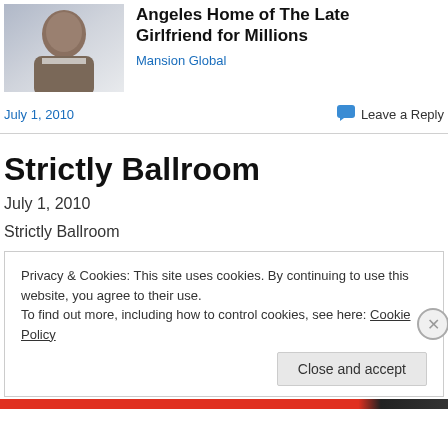[Figure (photo): Partial photo of a person in formal attire, cropped at top of page]
Angeles Home of The Late Girlfriend for Millions
Mansion Global
July 1, 2010
Leave a Reply
Strictly Ballroom
July 1, 2010
Strictly Ballroom
Privacy & Cookies: This site uses cookies. By continuing to use this website, you agree to their use.
To find out more, including how to control cookies, see here: Cookie Policy